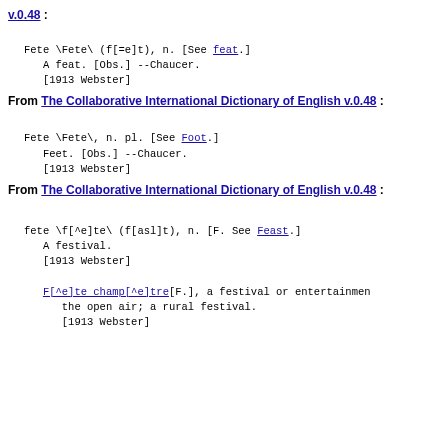From The Collaborative International Dictionary of English v.0.48 :
Fete \Fete\ (f[=e]t), n. [See feat.]
   A feat. [Obs.] --Chaucer.
   [1913 Webster]
From The Collaborative International Dictionary of English v.0.48 :
Fete \Fete\, n. pl. [See Foot.]
   Feet. [Obs.] --Chaucer.
   [1913 Webster]
From The Collaborative International Dictionary of English v.0.48 :
fete \f[^e]te\ (f[asl]t), n. [F. See Feast.]
   A festival.
   [1913 Webster]

   F[^e]te champ[^e]tre[F.], a festival or entertainment in
      the open air; a rural festival.
      [1913 Webster]